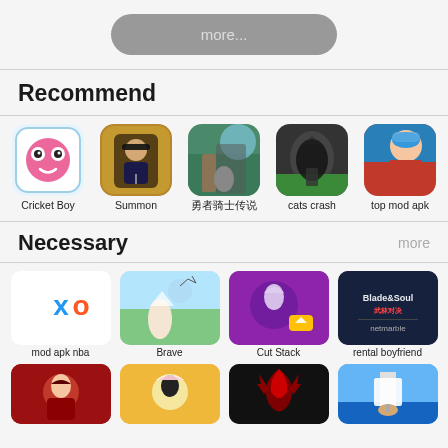more...
Recommend
[Figure (illustration): Cricket Boy app icon - circular badge with googly eyes]
Cricket Boy
[Figure (illustration): Summon app icon - man with sunglasses]
Summon
[Figure (illustration): App icon - warrior/knight in nature]
勇者骑士传说
[Figure (illustration): cats crash app icon - silhouette on soccer field]
cats crash
[Figure (illustration): top mod apk icon - anime girl]
top mod apk
Necessary
more
[Figure (illustration): mod apk nba icon - XO logo on white background]
mod apk nba
[Figure (illustration): Brave app icon - girl climbing]
Brave
[Figure (illustration): Cut Stack app icon - wolf howling purple background]
Cut Stack
[Figure (illustration): rental boyfriend icon - Blade & Soul netmarble]
rental boyfriend
[Figure (illustration): Wreck-It Ralph style character icon]
[Figure (illustration): Anime girl with bunny ears icon]
[Figure (illustration): Dragon icon]
[Figure (illustration): Lighthouse beach scene icon]